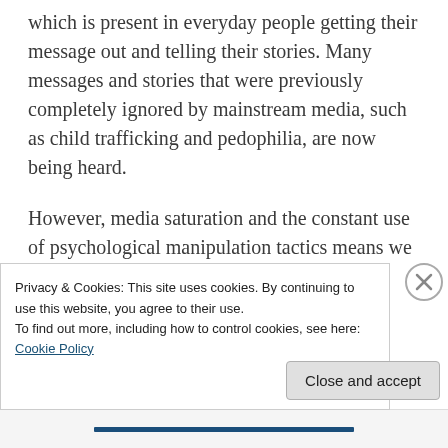which is present in everyday people getting their message out and telling their stories. Many messages and stories that were previously completely ignored by mainstream media, such as child trafficking and pedophilia, are now being heard.
However, media saturation and the constant use of psychological manipulation tactics means we must use high quality discernment, and be willing to use
Privacy & Cookies: This site uses cookies. By continuing to use this website, you agree to their use.
To find out more, including how to control cookies, see here: Cookie Policy
Close and accept